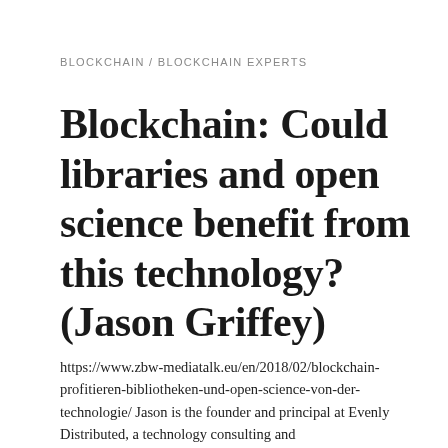BLOCKCHAIN / BLOCKCHAIN EXPERTS
Blockchain: Could libraries and open science benefit from this technology? (Jason Griffey)
https://www.zbw-mediatalk.eu/en/2018/02/blockchain-profitieren-bibliotheken-und-open-science-von-der-technologie/ Jason is the founder and principal at Evenly Distributed, a technology consulting and